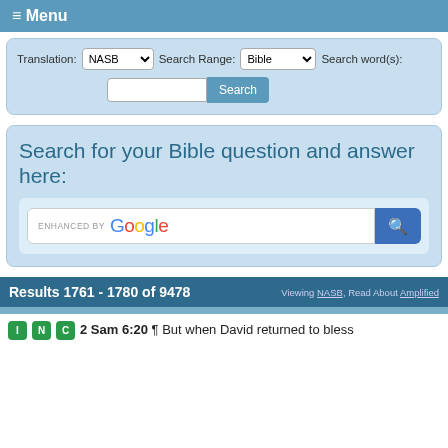≡ Menu
Translation: NASB  Search Range: Bible  Search word(s):
[Figure (screenshot): Search controls with translation dropdown set to NASB, search range dropdown set to Bible, search word(s) label, text input field, and Search button]
Search for your Bible question and answer here:
[Figure (screenshot): ENHANCED BY Google search box with search button]
Results 1761 - 1780 of 9478   Viewing NASB, Read About Amplified
2 Sam 6:20 ¶ But when David returned to bless